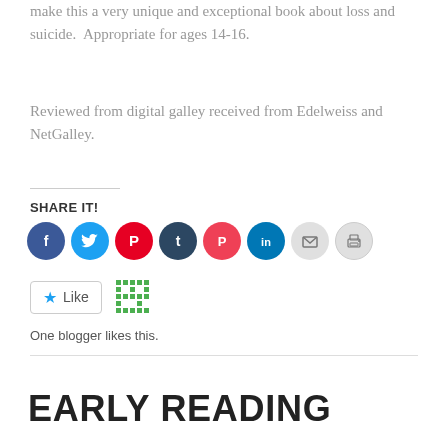make this a very unique and exceptional book about loss and suicide.  Appropriate for ages 14-16.
Reviewed from digital galley received from Edelweiss and NetGalley.
SHARE IT!
[Figure (infographic): Row of 8 circular social sharing icons: Facebook (blue), Twitter (light blue), Pinterest (red), Tumblr (dark navy), Pocket (red), LinkedIn (blue), Email (grey), Print (grey)]
[Figure (infographic): WordPress Like button with star icon and a green QR-pattern avatar. Text reads: One blogger likes this.]
One blogger likes this.
EARLY READING